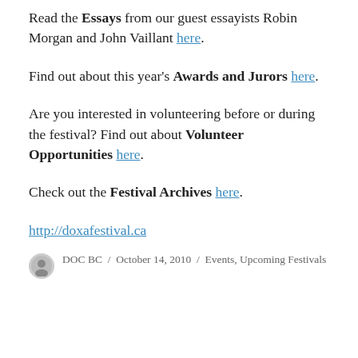Read the Essays from our guest essayists Robin Morgan and John Vaillant here.
Find out about this year's Awards and Jurors here.
Are you interested in volunteering before or during the festival? Find out about Volunteer Opportunities here.
Check out the Festival Archives here.
http://doxafestival.ca
DOC BC / October 14, 2010 / Events, Upcoming Festivals